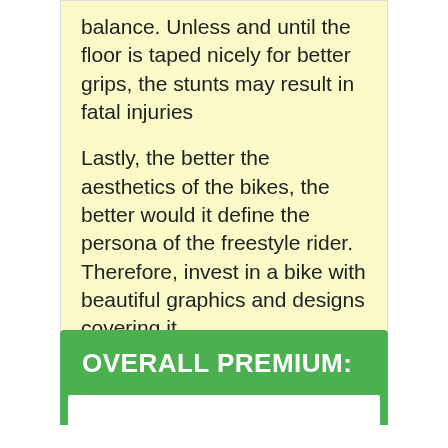balance. Unless and until the floor is taped nicely for better grips, the stunts may result in fatal injuries
Lastly, the better the aesthetics of the bikes, the better would it define the persona of the freestyle rider. Therefore, invest in a bike with beautiful graphics and designs covering it.
OVERALL PREMIUM: